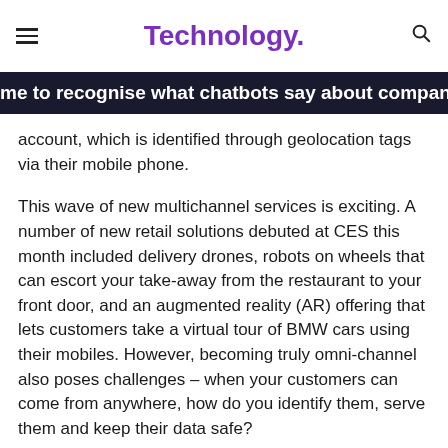Technology.
me to recognise what chatbots say about company culture
account, which is identified through geolocation tags via their mobile phone.
This wave of new multichannel services is exciting. A number of new retail solutions debuted at CES this month included delivery drones, robots on wheels that can escort your take-away from the restaurant to your front door, and an augmented reality (AR) offering that lets customers take a virtual tour of BMW cars using their mobiles. However, becoming truly omni-channel also poses challenges – when your customers can come from anywhere, how do you identify them, serve them and keep their data safe?
The retailers that will succeed in 2017 will be those who offer a streamlined and seamless shopping experience across every channel, without jeopardising